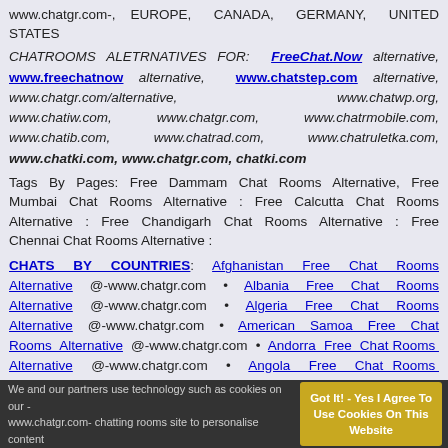www.chatgr.com-, EUROPE, CANADA, GERMANY, UNITED STATES
CHATROOMS ALETRNATIVES FOR: FreeChat.Now alternative, www.freechatnow alternative, www.chatstep.com alternative, www.chatgr.com/alternative, www.chatwp.org, www.chatiw.com, www.chatgr.com, www.chatrmobile.com, www.chatib.com, www.chatrad.com, www.chatruletka.com, www.chatki.com, www.chatgr.com, chatki.com
Tags By Pages: Free Dammam Chat Rooms Alternative, Free Mumbai Chat Rooms Alternative : Free Calcutta Chat Rooms Alternative : Free Chandigarh Chat Rooms Alternative : Free Chennai Chat Rooms Alternative :
CHATS BY COUNTRIES: Afghanistan Free Chat Rooms Alternative @-www.chatgr.com • Albania Free Chat Rooms Alternative @-www.chatgr.com • Algeria Free Chat Rooms Alternative @-www.chatgr.com • American Samoa Free Chat Rooms Alternative @-www.chatgr.com • Andorra Free Chat Rooms Alternative @-www.chatgr.com • Angola Free Chat Rooms Alternative @-www.chatgr.com • Anguilla Free Chat Rooms Alternative @-www.chatgr.com • Antigua & Barbuda Free...
We and our partners use technology such as cookies on our - www.chatgr.com- chatting rooms site to personalise content   Got It! - Yes I Agree To Use Cookies On This Website